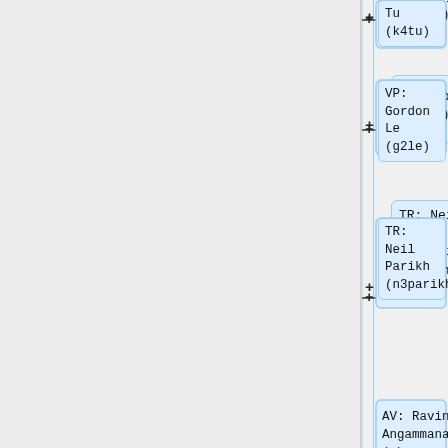[Figure (flowchart): Organizational chart / tree diagram showing nodes: Tu (k4tu), VP: Gordon Le (g2le), TR: Neil Parikh (n3parikh), AV: Ravindu Angammana (rbangamm), SA: Max Erenberg (merenber), empty node, === Fall ===, empty node, PR: Dora Su]
Tu (k4tu)
VP: Gordon Le (g2le)
TR: Neil Parikh (n3parikh)
AV: Ravindu Angammana (rbangamm)
SA: Max Erenberg (merenber)
=== Fall ===
PR: Dora Su